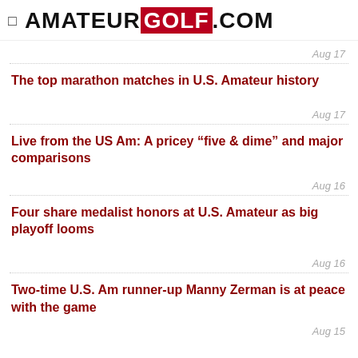AMATEUR GOLF .COM
Aug 17
The top marathon matches in U.S. Amateur history
Aug 17
Live from the US Am: A pricey “five & dime” and major comparisons
Aug 16
Four share medalist honors at U.S. Amateur as big playoff looms
Aug 16
Two-time U.S. Am runner-up Manny Zerman is at peace with the game
Aug 15